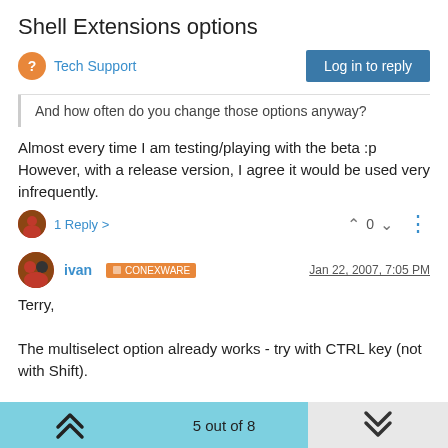Shell Extensions options
Tech Support
And how often do you change those options anyway?
Almost every time I am testing/playing with the beta :p However, with a release version, I agree it would be used very infrequently.
1 Reply >
ivan CONEXWARE Jan 22, 2007, 7:05 PM
Terry,

The multiselect option already works - try with CTRL key (not with Shift).
5 out of 8